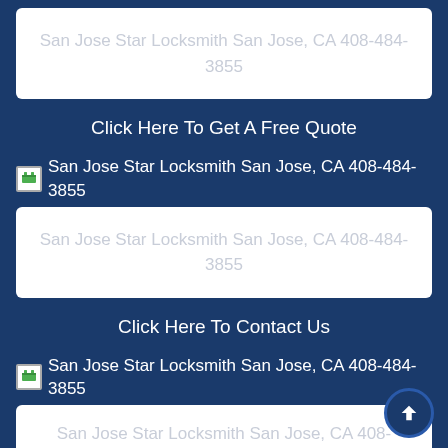[Figure (screenshot): White box with placeholder text: San Jose Star Locksmith San Jose, CA 408-484-3855]
Click Here To Get A Free Quote
San Jose Star Locksmith San Jose, CA 408-484-3855
[Figure (screenshot): White box with placeholder text: San Jose Star Locksmith San Jose, CA 408-484-3855]
Click Here To Contact Us
San Jose Star Locksmith San Jose, CA 408-484-3855
[Figure (screenshot): White box with placeholder text: San Jose Star Locksmith San Jose, CA 408-484- (partial)]